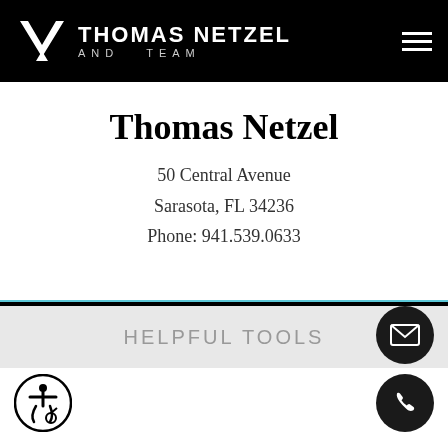THOMAS NETZEL AND TEAM
Thomas Netzel
50 Central Avenue
Sarasota, FL 34236
Phone: 941.539.0633
CONTACT THOMAS NETZEL
HELPFUL TOOLS
Get Directions
Schedule a Tour